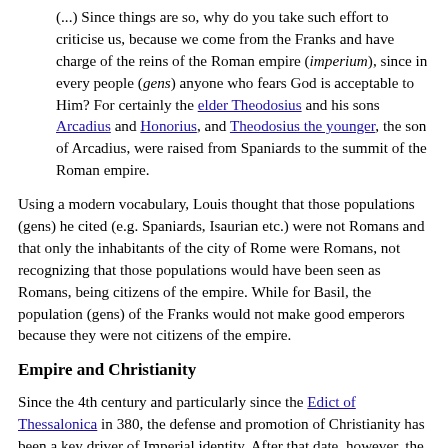(...) Since things are so, why do you take such effort to criticise us, because we come from the Franks and have charge of the reins of the Roman empire (imperium), since in every people (gens) anyone who fears God is acceptable to Him? For certainly the elder Theodosius and his sons Arcadius and Honorius, and Theodosius the younger, the son of Arcadius, were raised from Spaniards to the summit of the Roman empire.
Using a modern vocabulary, Louis thought that those populations (gens) he cited (e.g. Spaniards, Isaurian etc.) were not Romans and that only the inhabitants of the city of Rome were Romans, not recognizing that those populations would have been seen as Romans, being citizens of the empire. While for Basil, the population (gens) of the Franks would not make good emperors because they were not citizens of the empire.
Empire and Christianity
Since the 4th century and particularly since the Edict of Thessalonica in 380, the defense and promotion of Christianity has been a key driver of Imperial identity. After that date, however, the territorial scope of the Empire or any of its continuating entities has never exactly coincided with that of Christendom, and the